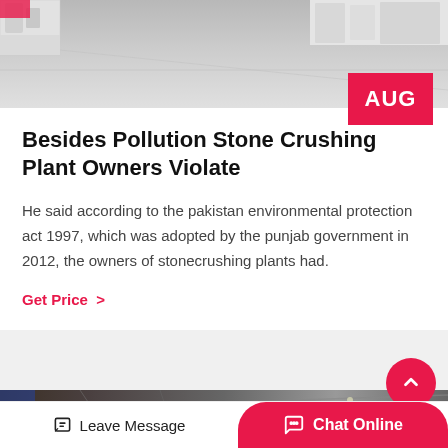[Figure (photo): Top portion of a stone crushing plant / industrial facility showing machinery and concrete floor from above]
Besides Pollution Stone Crushing Plant Owners Violate
He said according to the pakistan environmental protection act 1997, which was adopted by the punjab government in 2012, the owners of stonecrushing plants had.
Get Price  >
[Figure (photo): Bottom portion showing an industrial facility interior with steel structures and lighting]
Leave Message   Chat Online